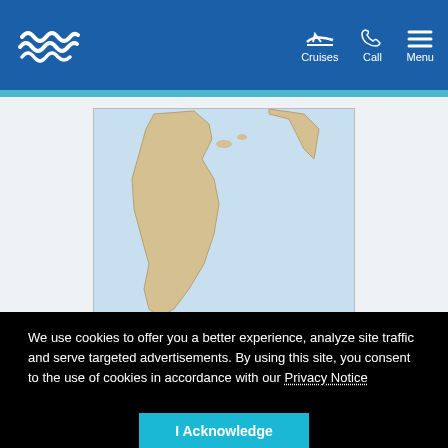Royal Caribbean cruise navigation bar with logo, Cruises, Call, Menu
[Figure (map): World map showing South America and Atlantic Ocean region, beige/tan landmasses on light blue ocean background]
Berlin (Warnemunde), Germany
We use cookies to offer you a better experience, analyze site traffic and serve targeted advertisements. By using this site, you consent to the use of cookies in accordance with our Privacy Notice
I Acknowledge